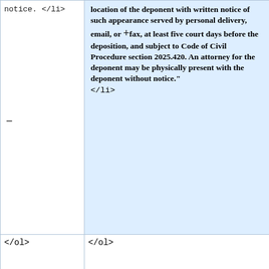notice. </li>
location of the deponent with written notice of such appearance served by personal delivery, email, or fax, at least five court days before the deposition, and subject to Code of Civil Procedure section 2025.420. An attorney for the deponent may be physically present with the deponent without notice."
</li>
</ol>
</ol>